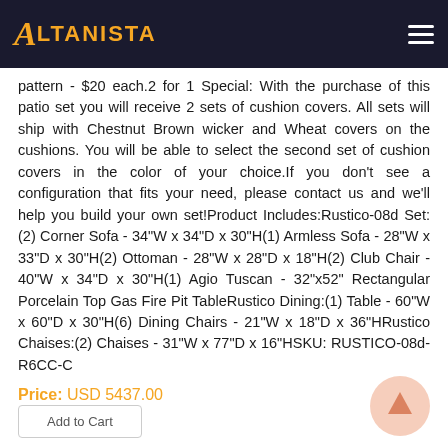ALTANISTA
pattern - $20 each.2 for 1 Special: With the purchase of this patio set you will receive 2 sets of cushion covers. All sets will ship with Chestnut Brown wicker and Wheat covers on the cushions. You will be able to select the second set of cushion covers in the color of your choice.If you don't see a configuration that fits your need, please contact us and we'll help you build your own set!Product Includes:Rustico-08d Set:(2) Corner Sofa - 34"W x 34"D x 30"H(1) Armless Sofa - 28"W x 33"D x 30"H(2) Ottoman - 28"W x 28"D x 18"H(2) Club Chair - 40"W x 34"D x 30"H(1) Agio Tuscan - 32"x52" Rectangular Porcelain Top Gas Fire Pit TableRustico Dining:(1) Table - 60"W x 60"D x 30"H(6) Dining Chairs - 21"W x 18"D x 36"HRustico Chaises:(2) Chaises - 31"W x 77"D x 16"HSKU: RUSTICO-08d-R6CC-C
Price: USD 5437.00